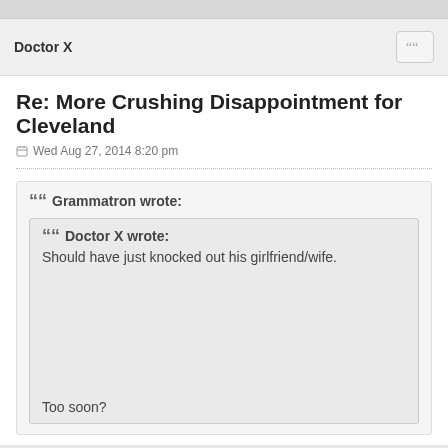Doctor X
Re: More Crushing Disappointment for Cleveland
Wed Aug 27, 2014 8:20 pm
Grammatron wrote:
Doctor X wrote:
Should have just knocked out his girlfriend/wife.
Too soon?